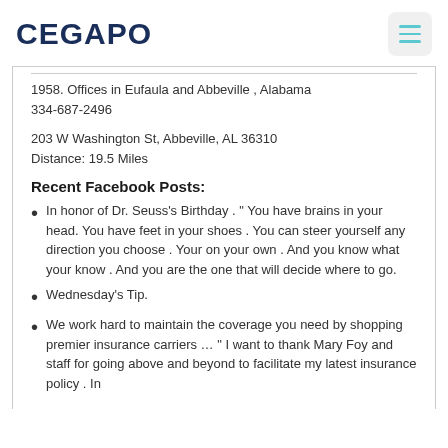CEGAPO
1958. Offices in Eufaula and Abbeville , Alabama 334-687-2496
203 W Washington St, Abbeville, AL 36310
Distance: 19.5 Miles
Recent Facebook Posts:
In honor of Dr. Seuss's Birthday . " You have brains in your head. You have feet in your shoes . You can steer yourself any direction you choose . Your on your own . And you know what your know . And you are the one that will decide where to go.
Wednesday's Tip.
We work hard to maintain the coverage you need by shopping premier insurance carriers … " I want to thank Mary Foy and staff for going above and beyond to facilitate my latest insurance policy . In